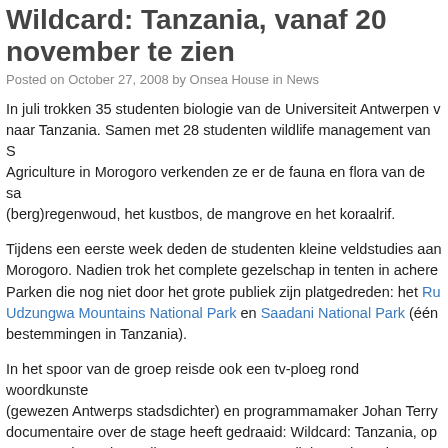Wildcard: Tanzania, vanaf 20 november te zien
Posted on October 27, 2008 by Onsea House in News
In juli trokken 35 studenten biologie van de Universiteit Antwerpen v naar Tanzania. Samen met 28 studenten wildlife management van S Agriculture in Morogoro verkenden ze er de fauna en flora van de sa (berg)regenwoud, het kustbos, de mangrove en het koraalrif.
Tijdens een eerste week deden de studenten kleine veldstudies aan Morogoro. Nadien trok het complete gezelschap in tenten in achere Parken die nog niet door het grote publiek zijn platgedreden: het Ru Udzungwa Mountains National Park en Saadani National Park (één bestemmingen in Tanzania).
In het spoor van de groep reisde ook een tv-ploeg rond woordkunste (gewezen Antwerps stadsdichter) en programmamaker Johan Terry documentaire over de stage heeft gedraaid: Wildcard: Tanzania, op 11 en 18 december, telkens om 21.10u. Parallel aan de serie versch Ramsey Nasr, Homo Safaricus bij De Bezige Bij en zal Canvas een verzorgen.